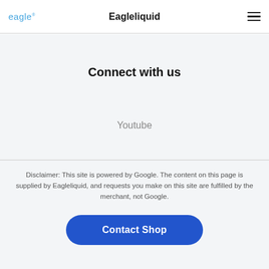eagle  Eagleliquid  ☰
Connect with us
Youtube
Disclaimer: This site is powered by Google. The content on this page is supplied by Eagleliquid, and requests you make on this site are fulfilled by the merchant, not Google.
Contact Shop